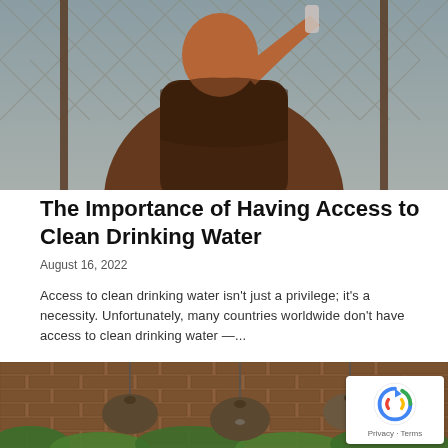[Figure (photo): Person drinking water from a bottle against a chain-link fence background]
The Importance of Having Access to Clean Drinking Water
August 16, 2022
Access to clean drinking water isn't just a privilege; it's a necessity. Unfortunately, many countries worldwide don't have access to clean drinking water —...
Read more
[Figure (photo): Hanging pendant lamps over a brick wall with green plants]